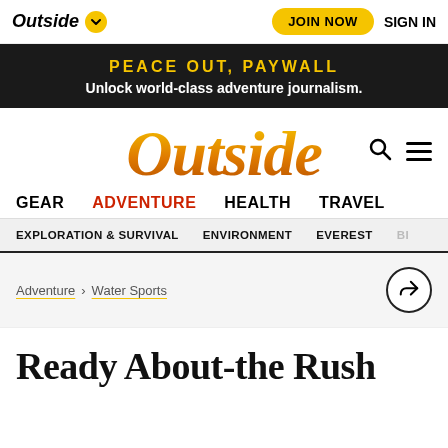Outside | JOIN NOW | SIGN IN
PEACE OUT, PAYWALL
Unlock world-class adventure journalism.
[Figure (logo): Outside magazine logo in large gold/orange italic serif font with search icon and hamburger menu]
GEAR  ADVENTURE  HEALTH  TRAVEL
EXPLORATION & SURVIVAL  ENVIRONMENT  EVEREST  BI...
Adventure > Water Sports
Ready About-the Rush